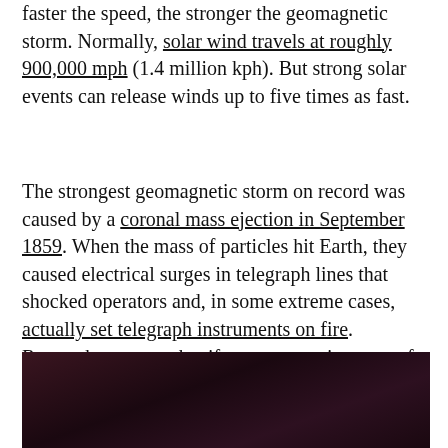faster the speed, the stronger the geomagnetic storm. Normally, solar wind travels at roughly 900,000 mph (1.4 million kph). But strong solar events can release winds up to five times as fast.
The strongest geomagnetic storm on record was caused by a coronal mass ejection in September 1859. When the mass of particles hit Earth, they caused electrical surges in telegraph lines that shocked operators and, in some extreme cases, actually set telegraph instruments on fire. Research suggests that if a geomagnetic storm of this magnitude hit Earth today, it would cause roughly $2 trillion in damage.
[Figure (photo): Dark reddish-brown photograph, likely of a solar or astronomical event, partially cropped at bottom of page.]